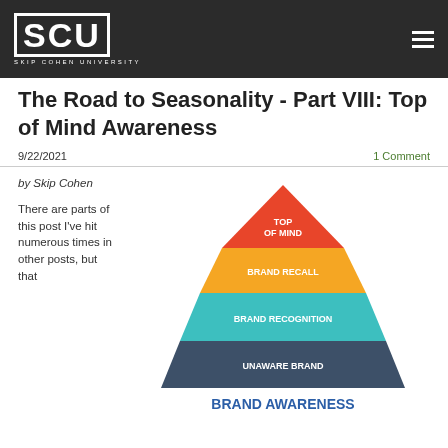SCU SKIP COHEN UNIVERSITY
The Road to Seasonality - Part VIII: Top of Mind Awareness
9/22/2021
1 Comment
by Skip Cohen
There are parts of this post I've hit numerous times in other posts, but that
[Figure (infographic): Brand awareness pyramid with four levels from bottom to top: UNAWARE BRAND (dark slate), BRAND RECOGNITION (teal), BRAND RECALL (orange-yellow), TOP OF MIND (red-orange). Below the pyramid the text BRAND AWARENESS appears in bold blue.]